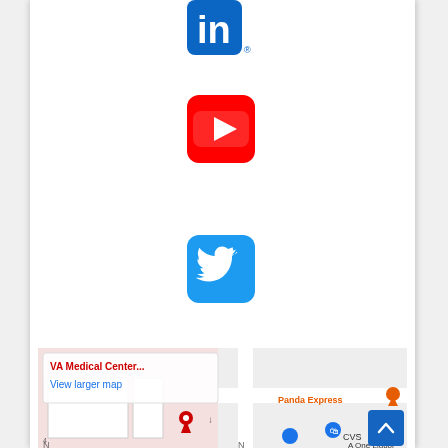[Figure (logo): LinkedIn logo icon - blue rounded square with white 'in' text]
[Figure (logo): YouTube logo icon - red rounded square with white play button]
[Figure (logo): Twitter logo icon - blue rounded square with white bird]
[Figure (map): Google Maps embed showing VA Medical Center area with Panda Express, CVS, and A One Liquor markers visible]